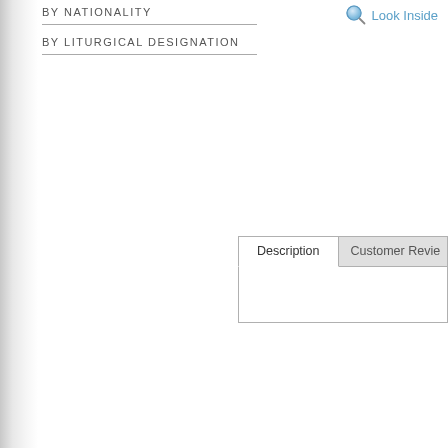BY NATIONALITY
BY LITURGICAL DESIGNATION
[Figure (screenshot): Look Inside magnifier icon and text link]
[Figure (screenshot): Tab interface with 'Description' and 'Customer Revie...' tabs]